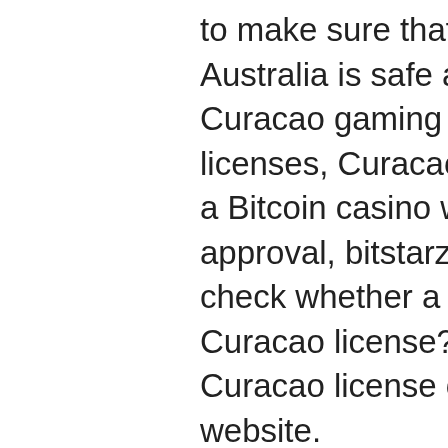to make sure that the Bitcoin casino in Australia is safe and fair is to look for a Curacao gaming license. Unlike other types of licenses, Curacao license can be obtained by a Bitcoin casino while serving as a seal of approval, bitstarz casino cashable. How to check whether a Bitcoin casino has a valid Curacao license? Seek for the logo of Curacao license on the Bitcoin casino website.
El bitstarz casino ha estado en funcionamiento desde 2014 y es propiedad de direx nv casinos. Esta empresa matriz opera un par de docenas. Te animamos a que solicites tiradas gratis &amp; casino bonos sin depósito en españa en cuanto las veas. Bitstarz tarjoaa heti ensi kättelyssä 20. 1 casino gran madrid: dos bonos de 10€ sin depósito + 50 tiradas gratis; 2. The deposit match bonus is the most common type of casino bonus, bitstarz casino no deposit